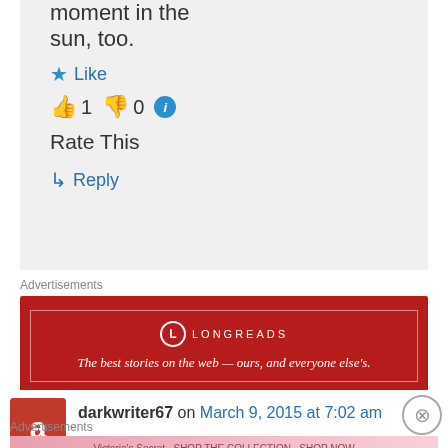moment in the sun, too.
Like
👍 1 👎 0 ℹ
Rate This
↳ Reply
Advertisements
[Figure (screenshot): Longreads advertisement banner: red background with logo and tagline 'The best stories on the web — ours, and everyone else's.']
REPORT THIS AD
darkwriter67 on March 9, 2015 at 7:02 am
Advertisements
[Figure (screenshot): Victoria's Secret advertisement: pink background with model, VS logo, text 'SHOP THE COLLECTION' and 'SHOP NOW' button]